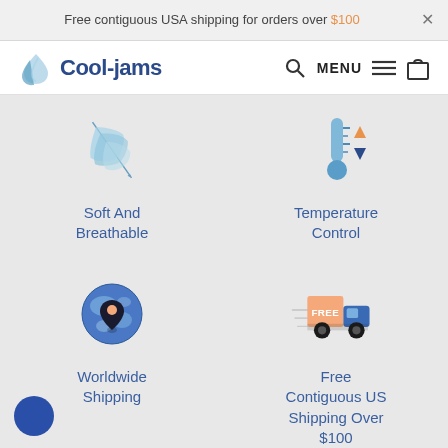Free contiguous USA shipping for orders over $100  ×
[Figure (logo): Cool-jams logo with blue water drop / wave icon and bold blue text 'Cool-jams']
[Figure (infographic): Navigation bar with search icon, MENU text with hamburger lines, and shopping bag icon]
[Figure (illustration): Light blue feather icon representing Soft And Breathable feature]
Soft And Breathable
[Figure (illustration): Thermometer with up/down triangle arrows in orange and navy representing Temperature Control]
Temperature Control
[Figure (illustration): Globe with map pin / location marker representing Worldwide Shipping]
Worldwide Shipping
[Figure (illustration): Delivery truck with orange FREE box and speed lines representing Free Contiguous US Shipping Over $100]
Free Contiguous US Shipping Over $100